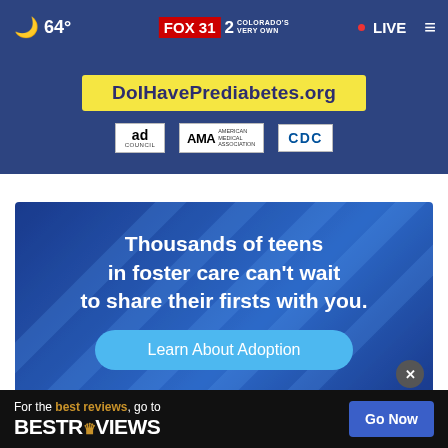FOX 31 2 COLORADO'S VERY OWN  64°  LIVE
[Figure (advertisement): Ad for DoIHavePrediabetes.org with yellow URL banner and logos for Ad Council, AMA, and CDC on dark blue background]
[Figure (advertisement): Ad for foster care adoption: 'Thousands of teens in foster care can't wait to share their firsts with you.' with 'Learn About Adoption' button on blue background]
[Figure (advertisement): BestReviews banner ad: 'For the best reviews, go to BESTREVIEWS' with 'Go Now' button on black background]